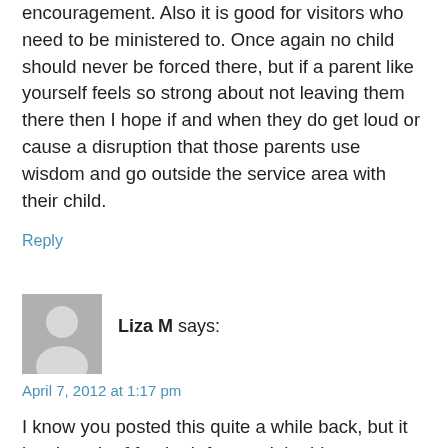encouragement. Also it is good for visitors who need to be ministered to. Once again no child should never be forced there, but if a parent like yourself feels so strong about not leaving them there then I hope if and when they do get loud or cause a disruption that those parents use wisdom and go outside the service area with their child.
Reply
Liza M says:
April 7, 2012 at 1:17 pm
I know you posted this quite a while back, but it is a breath of fresh air for me right this very moment. Thank you so much for speaking your mind and doing what is right for your family. My daughter is 20...